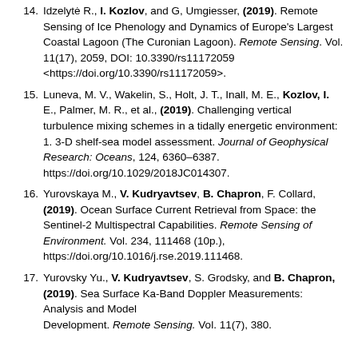14. Idzelytė R., I. Kozlov, and G, Umgiesser, (2019). Remote Sensing of Ice Phenology and Dynamics of Europe's Largest Coastal Lagoon (The Curonian Lagoon). Remote Sensing. Vol. 11(17), 2059, DOI: 10.3390/rs11172059 <https://doi.org/10.3390/rs11172059>.
15. Luneva, M. V., Wakelin, S., Holt, J. T., Inall, M. E., Kozlov, I. E., Palmer, M. R., et al., (2019). Challenging vertical turbulence mixing schemes in a tidally energetic environment: 1. 3-D shelf-sea model assessment. Journal of Geophysical Research: Oceans, 124, 6360–6387. https://doi.org/10.1029/2018JC014307.
16. Yurovskaya M., V. Kudryavtsev, B. Chapron, F. Collard, (2019). Ocean Surface Current Retrieval from Space: the Sentinel-2 Multispectral Capabilities. Remote Sensing of Environment. Vol. 234, 111468 (10p.), https://doi.org/10.1016/j.rse.2019.111468.
17. Yurovsky Yu., V. Kudryavtsev, S. Grodsky, and B. Chapron, (2019). Sea Surface Ka-Band Doppler Measurements: Analysis and Model Development. Remote Sensing. Vol. 11(7), 380.